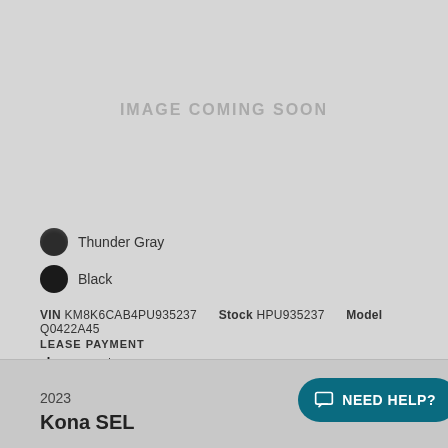[Figure (other): Gray placeholder image area with text IMAGE COMING SOON]
Thunder Gray
Black
VIN KM8K6CAB4PU935237   Stock HPU935237   Model Q0422A45
LEASE PAYMENT
$362* /month
After $700 dealer discount
Engine 2.0L 4 Cylinder
2023
Kona SEL